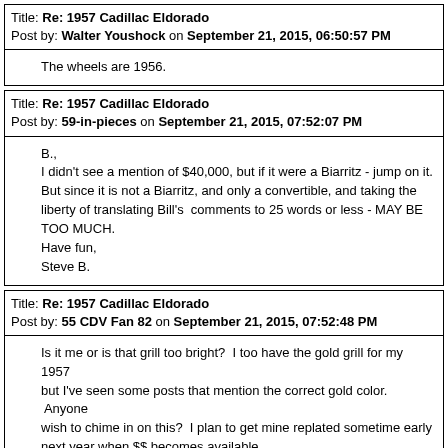Title: Re: 1957 Cadillac Eldorado
Post by: Walter Youshock on September 21, 2015, 06:50:57 PM
The wheels are 1956.
Title: Re: 1957 Cadillac Eldorado
Post by: 59-in-pieces on September 21, 2015, 07:52:07 PM
B.,
I didn't see a mention of $40,000, but if it were a Biarritz - jump on it. But since it is not a Biarritz, and only a convertible, and taking the liberty of translating Bill's  comments to 25 words or less - MAY BE TOO MUCH.
Have fun,
Steve B.
Title: Re: 1957 Cadillac Eldorado
Post by: 55 CDV Fan 82 on September 21, 2015, 07:52:48 PM
Is it me or is that grill too bright?  I too have the gold grill for my 1957 but I've seen some posts that mention the correct gold color.  Anyone wish to chime in on this?  I plan to get mine replated sometime early next year when $$ becomes available.
Title: Re: 1957 Cadillac Eldorado
Post by: Somewhere on September 22, 2015, 05:04:01 AM